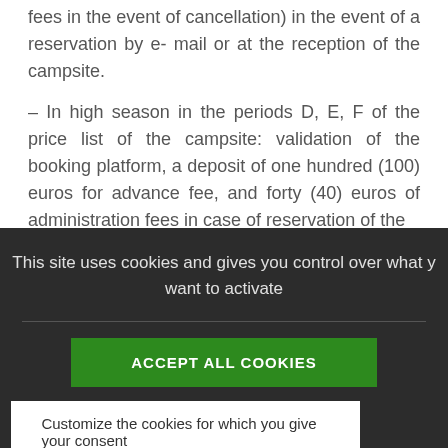fees in the event of cancellation) in the event of a reservation by e- mail or at the reception of the campsite.
– In high season in the periods D, E, F of the price list of the campsite: validation of the booking platform, a deposit of one hundred (100) euros for advance fee, and forty (40) euros of administration fees in case of reservation of the
This site uses cookies and gives you control over what you want to activate
ACCEPT ALL COOKIES
Customize the cookies for which you give your consent